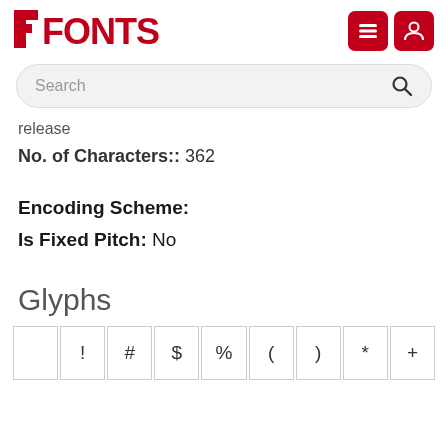[Figure (logo): F Fonts logo with red square bracket and bold red text FONTS, plus two red icon buttons (menu and user) in top right]
[Figure (screenshot): Search bar with rounded rectangle shape, placeholder text Search and magnifying glass icon]
release
No. of Characters:: 362
Encoding Scheme:
Is Fixed Pitch: No
Glyphs
! # $ % ( ) * +